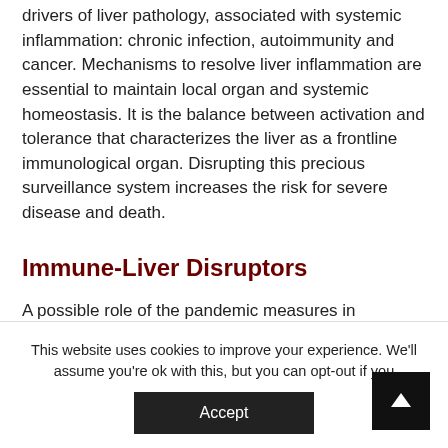drivers of liver pathology, associated with systemic inflammation: chronic infection, autoimmunity and cancer. Mechanisms to resolve liver inflammation are essential to maintain local organ and systemic homeostasis. It is the balance between activation and tolerance that characterizes the liver as a frontline immunological organ. Disrupting this precious surveillance system increases the risk for severe disease and death.
Immune-Liver Disruptors
A possible role of the pandemic measures in excessive
This website uses cookies to improve your experience. We'll assume you're ok with this, but you can opt-out if you wish.